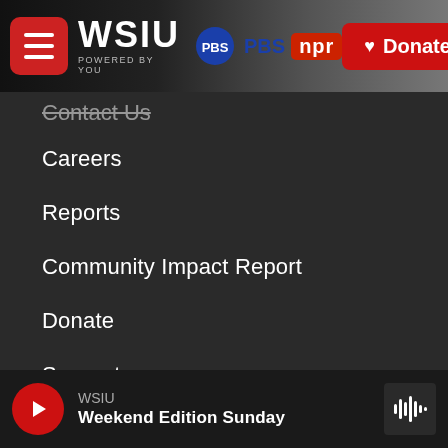WSIU POWERED BY YOU | PBS | NPR | Donate
Contact Us
Careers
Reports
Community Impact Report
Donate
Support
Update Membership
Privacy Policy
Southern Illinois University
WSIU | Weekend Edition Sunday